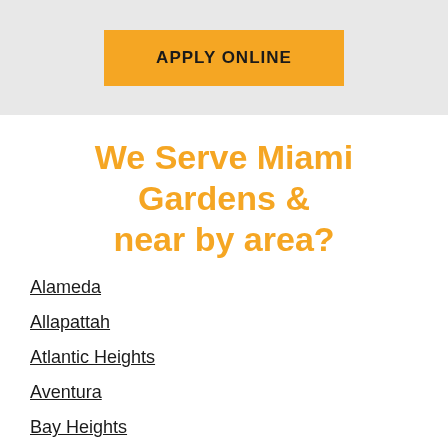[Figure (other): Orange 'APPLY ONLINE' button on a light grey background banner]
We Serve Miami Gardens & near by area?
Alameda
Allapattah
Atlantic Heights
Aventura
Bay Heights